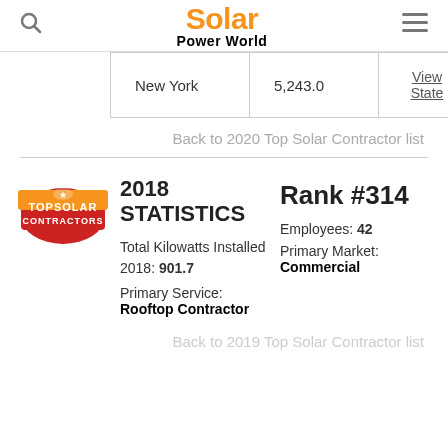Solar Power World
| New York | 5,243.0 | View State |
Back to 2020 Top Solar Contractor list
[Figure (logo): Top Solar Contractors badge logo - red and gold badge with trophy figure]
2018 STATISTICS
Rank #314
Total Kilowatts Installed 2018: 901.7
Employees: 42
Primary Service:
Rooftop Contractor
Primary Market:
Commercial
Back to 2019 Top Solar Contractor list